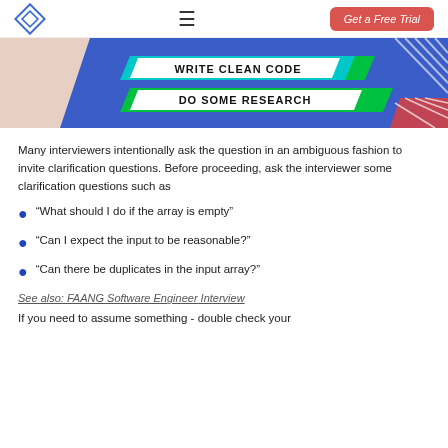Get a Free Trial
[Figure (infographic): Blue banner graphic with text 'WRITE CLEAN CODE' and 'DO SOME RESEARCH' on teal/green parallelogram shapes, with decorative diagonal stripe elements on right side and a light pink shape on the left.]
Many interviewers intentionally ask the question in an ambiguous fashion to invite clarification questions. Before proceeding, ask the interviewer some clarification questions such as
“What should I do if the array is empty”
“Can I expect the input to be reasonable?”
“Can there be duplicates in the input array?”
See also: FAANG Software Engineer Interview
If you need to assume something - double check your